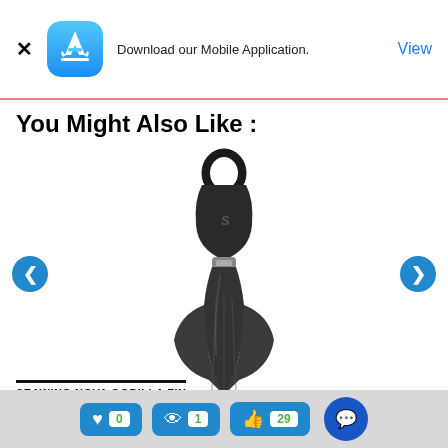[Figure (screenshot): App Store icon — blue rounded square with white toolbox/hammer logo]
Download our Mobile Application.
View
You Might Also Like :
[Figure (photo): Seawing Nova Gorilla Fin — dark grey/black scuba diving fin with buckle strap, angled view]
SEAWING NOVA GORILLA FIN